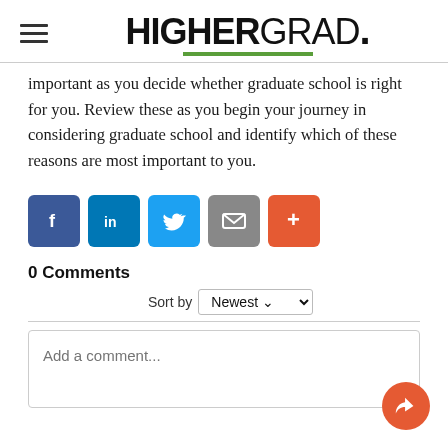HIGHERGRAD.
important as you decide whether graduate school is right for you. Review these as you begin your journey in considering graduate school and identify which of these reasons are most important to you.
[Figure (other): Social share buttons: Facebook (f), LinkedIn (in), Twitter bird icon, Email (envelope icon), More (+) — colored square buttons]
0 Comments
Sort by Newest
Add a comment...